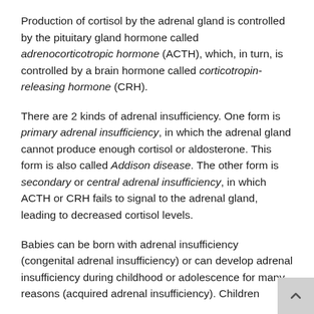Production of cortisol by the adrenal gland is controlled by the pituitary gland hormone called adrenocorticotropic hormone (ACTH), which, in turn, is controlled by a brain hormone called corticotropin-releasing hormone (CRH).
There are 2 kinds of adrenal insufficiency. One form is primary adrenal insufficiency, in which the adrenal gland cannot produce enough cortisol or aldosterone. This form is also called Addison disease. The other form is secondary or central adrenal insufficiency, in which ACTH or CRH fails to signal to the adrenal gland, leading to decreased cortisol levels.
Babies can be born with adrenal insufficiency (congenital adrenal insufficiency) or can develop adrenal insufficiency during childhood or adolescence for many reasons (acquired adrenal insufficiency). Children...